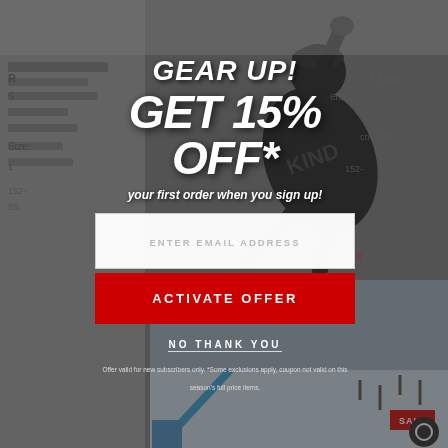[Figure (screenshot): Background of a product page showing snowboard items with text partially visible, overlaid with a snowboarder action photo and a dark semi-transparent overlay]
GEAR UP!
GET 15% OFF*
your first order when you sign up!
ENTER EMAIL ADDRESS
ACTIVATE OFFER
NO THANK YOU
Offer valid for new subscribers only. *Some exclusions apply, coupon not valid on this season's full price items.